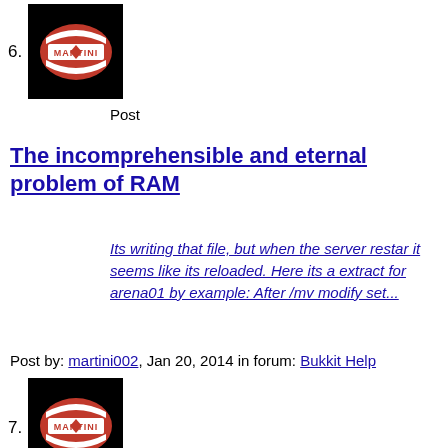6.
[Figure (logo): Martini logo - black background with red and white Martini brand badge]
Post
The incomprehensible and eternal problem of RAM
Its writing that file, but when the server restar it seems like its reloaded. Here its a extract for arena01 by example: After /mv modify set...
Post by: martini002, Jan 20, 2014 in forum: Bukkit Help
7.
[Figure (logo): Martini logo - black background with red and white Martini brand badge]
Post
The incomprehensible and eternal problem of RAM
Allright, I restarted the server and i did notice, the chunks in each map keep in memory again, so i di again: /mv modify set...